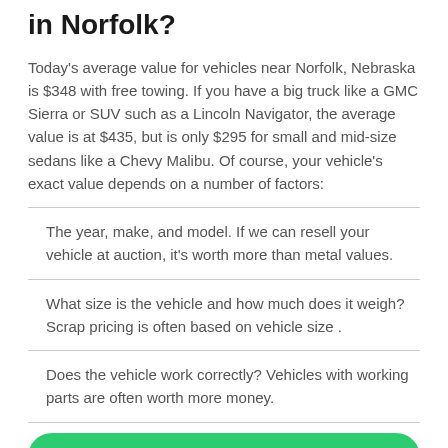in Norfolk?
Today's average value for vehicles near Norfolk, Nebraska is $348 with free towing. If you have a big truck like a GMC Sierra or SUV such as a Lincoln Navigator, the average value is at $435, but is only $295 for small and mid-size sedans like a Chevy Malibu. Of course, your vehicle's exact value depends on a number of factors:
The year, make, and model. If we can resell your vehicle at auction, it's worth more than metal values.
What size is the vehicle and how much does it weigh? Scrap pricing is often based on vehicle size .
Does the vehicle work correctly? Vehicles with working parts are often worth more money.
Get an Offer Now!